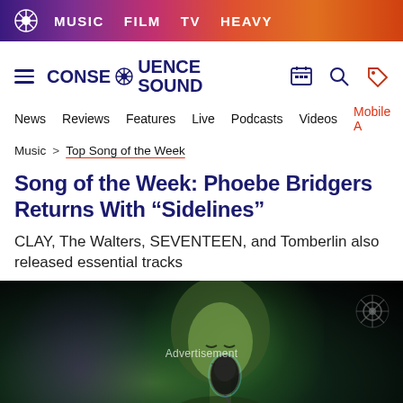MUSIC   FILM   TV   HEAVY
[Figure (logo): Consequence Sound site logo with navigation: News, Reviews, Features, Live, Podcasts, Videos, Mobile App]
Music > Top Song of the Week
Song of the Week: Phoebe Bridgers Returns With “Sidelines”
CLAY, The Walters, SEVENTEEN, and Tomberlin also released essential tracks
[Figure (photo): Concert photo of Phoebe Bridgers performing at a microphone, lit with green and purple stage lighting, against a dark background. A Consequence Sound watermark is visible in the upper right corner. An 'Advertisement' label appears in the center.]